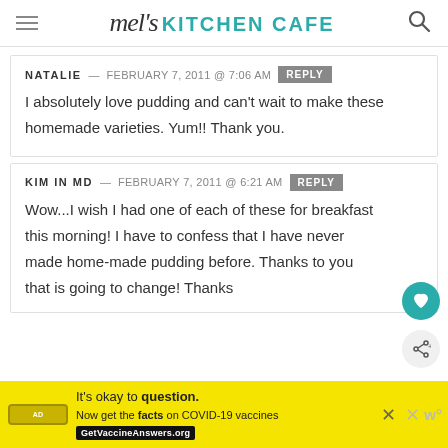mel's KITCHEN CAFE
NATALIE — FEBRUARY 7, 2011 @ 7:06 AM REPLY
I absolutely love pudding and can't wait to make these homemade varieties. Yum!! Thank you.
KIM IN MD — FEBRUARY 7, 2011 @ 6:21 AM REPLY
Wow...I wish I had one of each of these for breakfast this morning! I have to confess that I have never made home-made pudding before. Thanks to you that is going to change! Thanks
It's okay to question. Now get the facts on COVID-19 vaccines GetVaccineAnswers.org